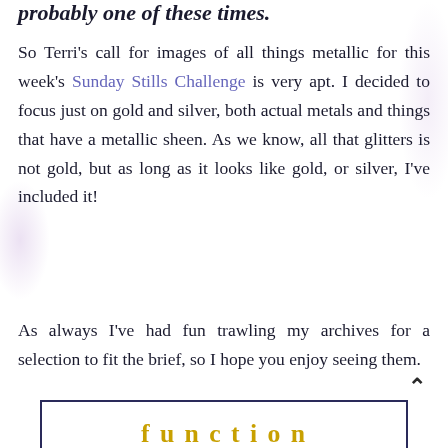probably one of those times.
So Terri's call for images of all things metallic for this week's Sunday Stills Challenge is very apt. I decided to focus just on gold and silver, both actual metals and things that have a metallic sheen. As we know, all that glitters is not gold, but as long as it looks like gold, or silver, I've included it!
As always I've had fun trawling my archives for a selection to fit the brief, so I hope you enjoy seeing them.
[Figure (other): Bottom portion of a framed box element with golden/yellow decorative text partially visible at the bottom of the page]